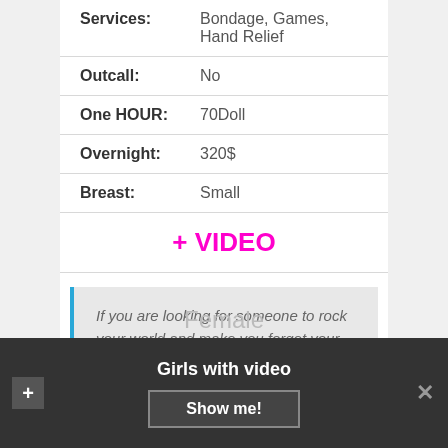| Label | Value |
| --- | --- |
| Services: | Bondage, Games, Hand Relief |
| Outcall: | No |
| One HOUR: | 70Doll |
| Overnight: | 320$ |
| Breast: | Small |
+ VIDEO
If you are looking for someone to rock your world and make you forget your middle name
Female
Girls with video
Show me!